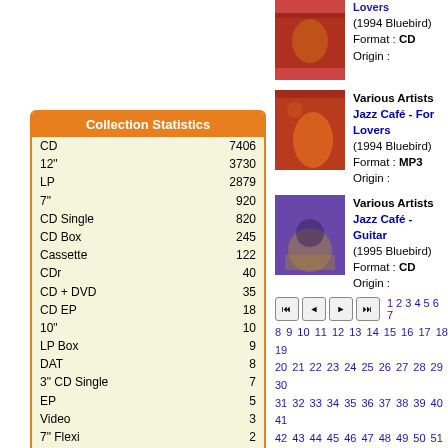| Format | Count |
| --- | --- |
| CD | 7406 |
| 12" | 3730 |
| LP | 2879 |
| 7" | 920 |
| CD Single | 820 |
| CD Box | 245 |
| Cassette | 122 |
| CDr | 40 |
| CD + DVD | 35 |
| CD EP | 18 |
| 10" | 10 |
| LP Box | 9 |
| DAT | 8 |
| 3" CD Single | 7 |
| EP | 5 |
| Video | 3 |
| 7" Flexi | 2 |
| Cassette Box | 2 |
| 6" | 1 |
| Dual Disc | 1 |
| LP + 12" | 1 |
| Total Physical | 16264 |
| MP3 | 6227 |
| Total | 22381 |
| Additions for period |  |
| 100909 - 141109 | 188 |
| 141109 - 010111 | 229 |
[Figure (photo): Album art for Jazz Café - For Lovers (first entry, CD format)]
Various Artists Jazz Café - For Lovers (1994 Bluebird) Format: CD Origin:
[Figure (photo): Album art for Jazz Café - For Lovers (second entry, MP3 format)]
Various Artists Jazz Café - For Lovers (1994 Bluebird) Format: MP3 Origin:
[Figure (photo): Album art for Jazz Café - Guitar]
Various Artists Jazz Café - Guitar (1995 Bluebird) Format: CD Origin:
1 2 3 4 5 6 7 8 9 10 11 12 13 14 15 16 17 18 19 20 21 22 23 24 25 26 27 28 29 30 31 32 33 34 35 36 37 38 39 40 41 42 43 44 45 46 47 48 49 50 51 52 53 54 55 56 57 58 59 60 61 62 63 64 65 66 67 68 69 70 71 72 73 74 75 76 77 78 79 80 81 82 83 84 85 86 87 88 89 90 91 92 93 94 95 96 97 98 99 100 101 102 103 104 105 106 107 108 109 110 111 112 113 114 115 116 117 118 119 120 121 122 123 124 125 126 127 128 129 130 131 132 133 134 135 136 137 138 139 140 141 142 143 144 145 146 147 148 149 150 151 152 153 154 155 156 157 158 159 160 161 162 163 164 165 166 167 168 169